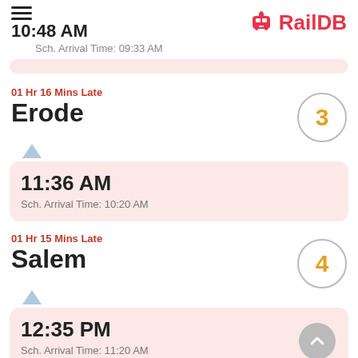10:48 AM | RailDB
Sch. Arrival Time: 09:33 AM
01 Hr 16 Mins Late
Erode
3
11:36 AM
Sch. Arrival Time: 10:20 AM
01 Hr 15 Mins Late
Salem
4
12:35 PM
Sch. Arrival Time: 11:20 AM